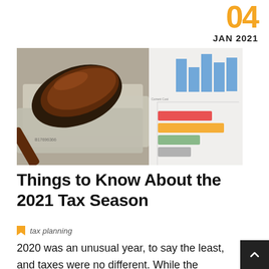04
JAN 2021
[Figure (photo): A judge's gavel resting on US dollar bills alongside financial charts showing bar graphs in blue, red, orange, and green colors.]
Things to Know About the 2021 Tax Season
tax planning
2020 was an unusual year, to say the least, and taxes were no different. While the pandemic and related financial crisis continue across the